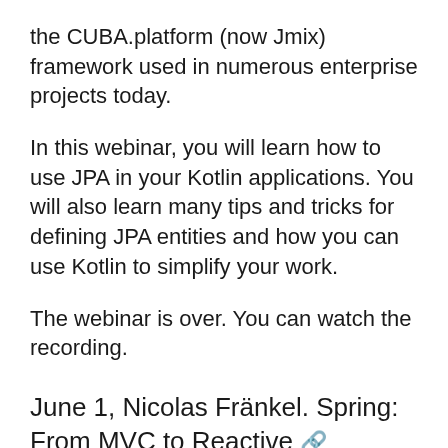the CUBA.platform (now Jmix) framework used in numerous enterprise projects today.
In this webinar, you will learn how to use JPA in your Kotlin applications. You will also learn many tips and tricks for defining JPA entities and how you can use Kotlin to simplify your work.
The webinar is over. You can watch the recording.
June 1, Nicolas Fränkel. Spring: From MVC to Reactive 🔗